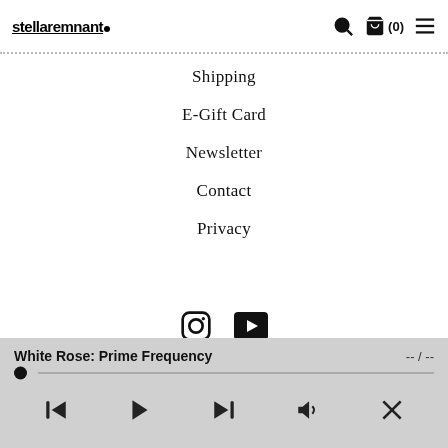stellaremnant. (0) ☰
Shipping
E-Gift Card
Newsletter
Contact
Privacy
[Figure (other): Instagram and YouTube social media icons]
©2022 Stellar Remnant. All Rights Reserved.
White Rose: Prime Frequency  -- / --